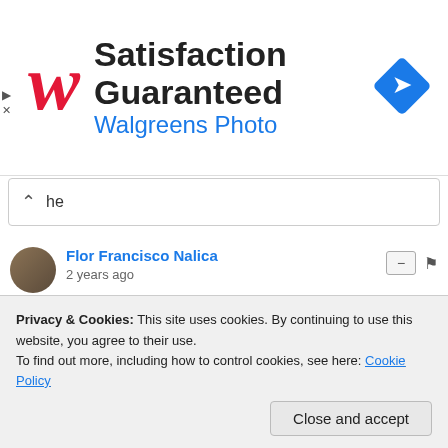[Figure (screenshot): Walgreens Photo advertisement banner with red italic W logo, 'Satisfaction Guaranteed' heading, 'Walgreens Photo' subheading in blue, and a blue diamond navigation icon on the right]
he
Flor Francisco Nalica
2 years ago
Malayong mas maganda yung Lenovo K5 Play kaysa dyan.. mas mahal yung Lenovo ng P200 pero sa spec wla yang Nokia c2 na yan.😆😆😆
Reply
lee chao → Flor Francisco Nalica
Privacy & Cookies: This site uses cookies. By continuing to use this website, you agree to their use.
To find out more, including how to control cookies, see here: Cookie Policy
Close and accept